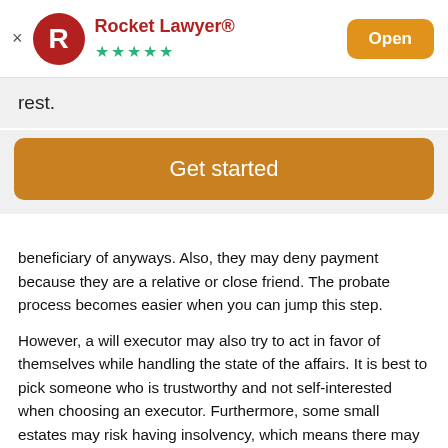[Figure (logo): Rocket Lawyer app banner with red R logo, five green stars, app name in dark red, and orange Open button]
rest.
Get started
beneficiary of anyways.  Also, they may deny payment because they are a relative or close friend.  The probate process becomes easier when you can jump this step.
However, a will executor may also try to act in favor of themselves while handling the state of the affairs.  It is best to pick someone who is trustworthy and not self-interested when choosing an executor.  Furthermore, some small estates may risk having insolvency, which means there may be more debts than assets in the estate.  This could put unwanted pressure on the executor.